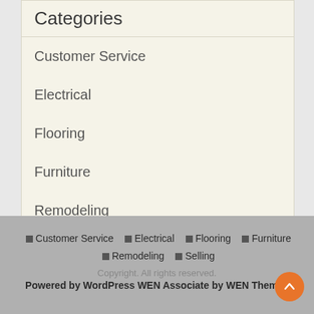Categories
Customer Service
Electrical
Flooring
Furniture
Remodeling
Selling
Customer Service · Electrical · Flooring · Furniture · Remodeling · Selling
Copyright. All rights reserved.
Powered by WordPress WEN Associate by WEN Themes